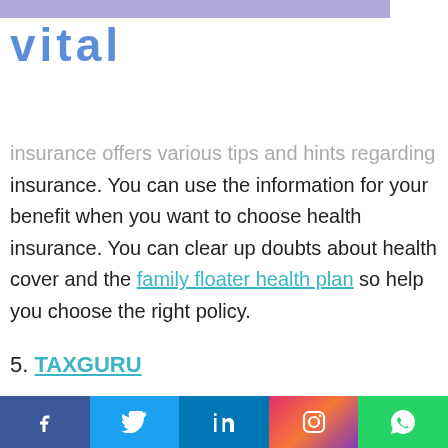vital
insurance offers various tips and hints regarding insurance. You can use the information for your benefit when you want to choose health insurance. You can clear up doubts about health cover and the family floater health plan so help you choose the right policy.
5. TAXGURU
The Taxguru offers knowledge about different types of insurance, and you can learn a lot about health insurance here. Get a peek at the ins and outs of the insurance industry and learn about affordable...
f  [Twitter]  in  [Instagram]  [WhatsApp]